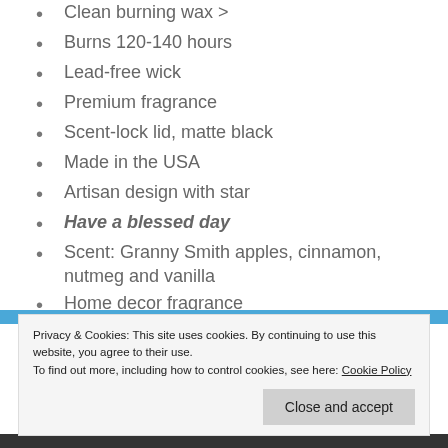Clean burning wax >
Burns 120-140 hours
Lead-free wick
Premium fragrance
Scent-lock lid, matte black
Made in the USA
Artisan design with star
Have a blessed day
Scent: Granny Smith apples, cinnamon, nutmeg and vanilla
Home decor fragrance
Privacy & Cookies: This site uses cookies. By continuing to use this website, you agree to their use. To find out more, including how to control cookies, see here: Cookie Policy
Close and accept